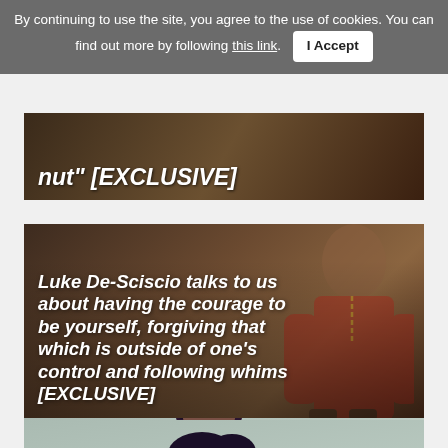By continuing to use the site, you agree to the use of cookies. You can find out more by following this link. I Accept
[Figure (photo): Partially visible image card with white bold italic text overlay reading: nut" [EXCLUSIVE]]
[Figure (photo): Photo of Luke De-Sciscio, a man in a red jacket against a wooden background, with bold italic white text overlay: Luke De-Sciscio talks to us about having the courage to be yourself, forgiving that which is outside of one's control and following whims [EXCLUSIVE]]
[Figure (photo): Photo of Annie Elise, a woman with dark curly hair against a light background, with bold italic white text overlay: Annie Elise talks to us about the challenges a female producer has to face]